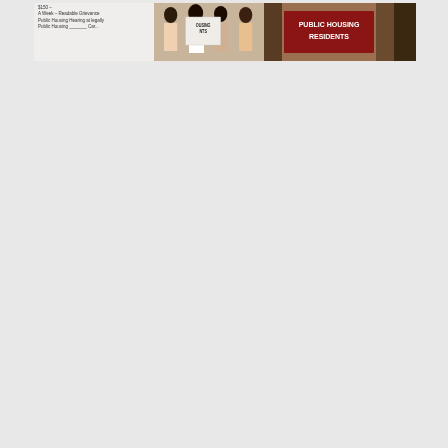[Figure (photo): Photograph showing people holding protest signs. On the left is a whiteboard or poster with handwritten text. In the center, people hold a white sign. On the right, a prominent red sign reads 'PUBLIC HOUSING RESIDENTS'. The image appears to be from a public housing advocacy demonstration or protest.]